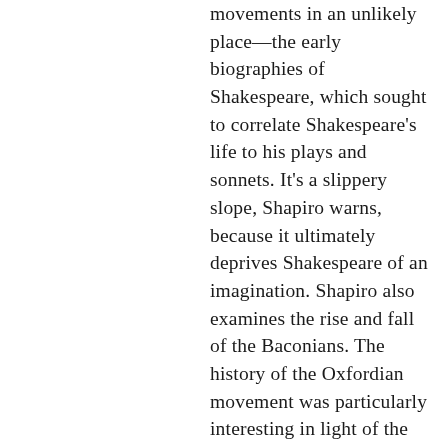movements in an unlikely place—the early biographies of Shakespeare, which sought to correlate Shakespeare's life to his plays and sonnets. It's a slippery slope, Shapiro warns, because it ultimately deprives Shakespeare of an imagination. Shapiro also examines the rise and fall of the Baconians. The history of the Oxfordian movement was particularly interesting in light of the fact that many famous actors and even Supreme Court justices have decided in favor of Oxford over Shakespeare. And Shapiro does not flinch from describing the uncanny resemblances some parts of Oxford's life have to the plays; however, he also presents solid evidence in favor of Shakespeare that should put to rest any doubts. It should, but it won't precisely because people seem